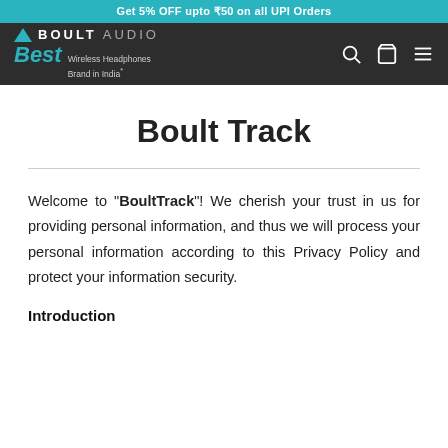Get 5% OFF upto ₹50 on all UPI Orders
[Figure (logo): Boult Audio logo with triangle icon, brand name BOULT AUDIO, and tagline 'Best Wireless Headphones Brand in India*']
Boult Track
Welcome to "BoultTrack"! We cherish your trust in us for providing personal information, and thus we will process your personal information according to this Privacy Policy and protect your information security.
Introduction